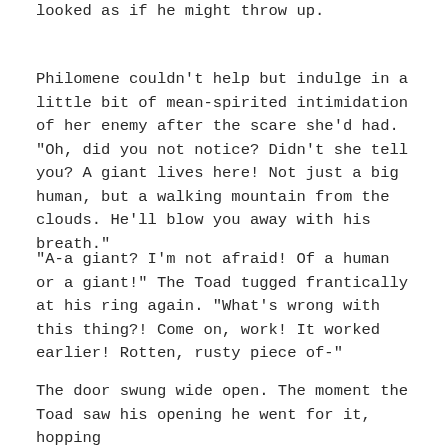looked as if he might throw up.
Philomene couldn't help but indulge in a little bit of mean-spirited intimidation of her enemy after the scare she'd had. "Oh, did you not notice? Didn't she tell you? A giant lives here! Not just a big human, but a walking mountain from the clouds. He'll blow you away with his breath."
"A-a giant? I'm not afraid! Of a human or a giant!" The Toad tugged frantically at his ring again. "What's wrong with this thing?! Come on, work! It worked earlier! Rotten, rusty piece of-"
The door swung wide open. The moment the Toad saw his opening he went for it, hopping